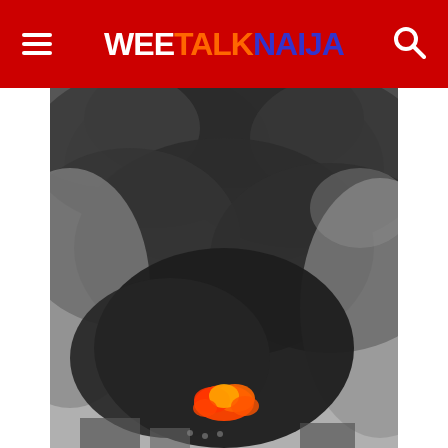WEETALKNAIJA – navigation header with logo and menu/search icons
[Figure (photo): Large photograph of a massive fire with thick black smoke billowing into the sky. Flames and orange fire visible near the bottom center of the image. Buildings partially visible at the bottom through the smoke.]